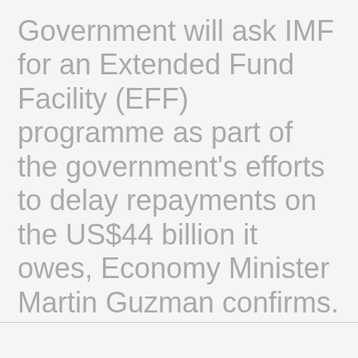Government will ask IMF for an Extended Fund Facility (EFF) programme as part of the government's efforts to delay repayments on the US$44 billion it owes, Economy Minister Martin Guzman confirms.